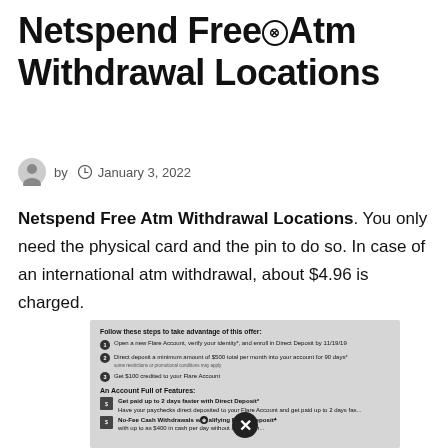Netspend Free⊗Atm Withdrawal Locations
by  January 3, 2022
Netspend Free Atm Withdrawal Locations. You only need the physical card and the pin to do so. In case of an international atm withdrawal, about $4.96 is charged.
[Figure (screenshot): A screenshot of a Netspend/Flare Account offer card showing steps to take advantage of an offer and account features including Direct Deposit and No-Fee Cash Withdrawals. A circled X overlay badge appears at bottom center.]